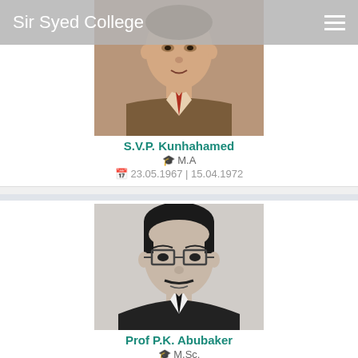Sir Syed College
[Figure (photo): Portrait photo of S.V.P. Kunhahamed, a man in a suit with a tie, vintage color photograph]
S.V.P. Kunhahamed
M.A
23.05.1967 | 15.04.1972
[Figure (photo): Black and white portrait photo of Prof P.K. Abubaker, a man wearing glasses and a suit]
Prof P.K. Abubaker
M.Sc.
16.04.1972 | 02.02.1979